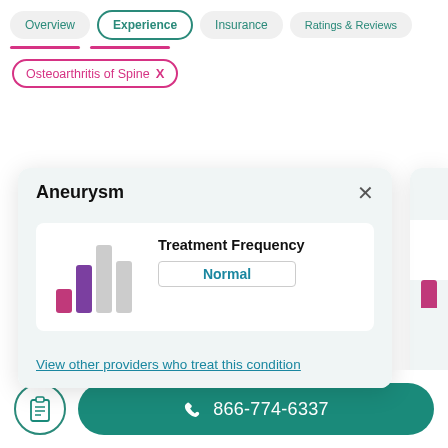Overview | Experience | Insurance | Ratings & Reviews
Osteoarthritis of Spine  X
Aneurysm
[Figure (bar-chart): Bar chart showing treatment frequency with colored bars (pink and purple active, gray inactive). Label: Normal]
Treatment Frequency
Normal
View other providers who treat this condition
866-774-6337